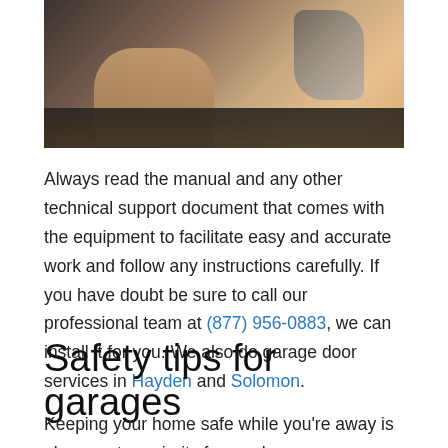[Figure (photo): A person's hand on a car dashboard/steering area, with a side mirror visible in the background. Interior car scene.]
Always read the manual and any other technical support document that comes with the equipment to facilitate easy and accurate work and follow any instructions carefully. If you have doubt be sure to call our professional team at (877) 956-0883, we can install it for you. We also do garage door services in Hayden and Solomon.
Safety tips for garages
Keeping your home safe while you're away is always a top priority for any homeowner. Making